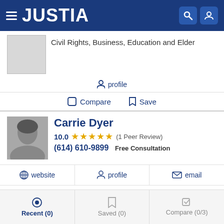JUSTIA
Civil Rights, Business, Education and Elder
profile
Compare  Save
Carrie Dyer
10.0  ★★★★★  (1 Peer Review)
(614) 610-9899  Free Consultation
website   profile   email
Compare  Save
Greg Mansell (partial)
Recent (0)   Saved (0)   Compare (0/3)